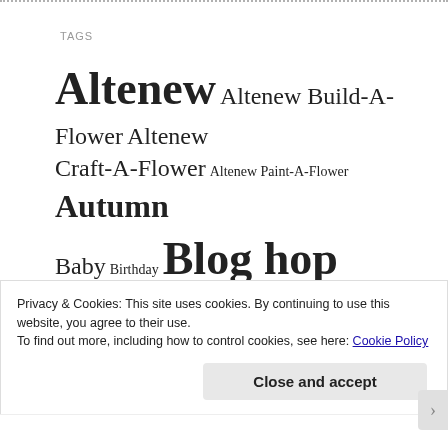TAGS
Altenew Altenew Build-A-Flower Altenew Craft-A-Flower Altenew Paint-A-Flower Autumn Baby Birthday Blog hop Butterfly Christmas Clearly Besotted Concord & 9th Copic markers Create A Smile Die
Privacy & Cookies: This site uses cookies. By continuing to use this website, you agree to their use.
To find out more, including how to control cookies, see here: Cookie Policy
Close and accept